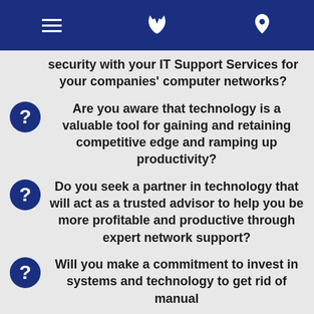Navigation bar with menu, phone, and location icons
security with your IT Support Services for your companies' computer networks?
Are you aware that technology is a valuable tool for gaining and retaining competitive edge and ramping up productivity?
Do you seek a partner in technology that will act as a trusted advisor to help you be more profitable and productive through expert network support?
Will you make a commitment to invest in systems and technology to get rid of manual